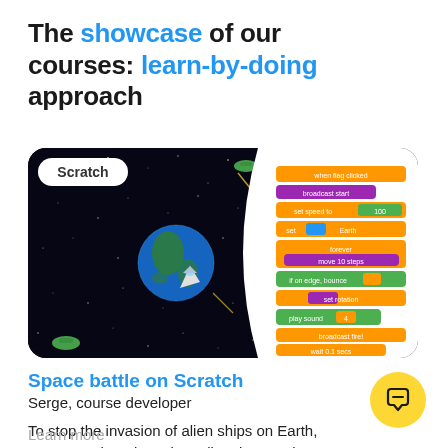The showcase of our courses: learn-by-doing approach
[Figure (screenshot): Scratch coding environment showing a space battle game. Left side shows a dark starfield with Earth, a spaceship, and alien ships. Right side shows Scratch block-based code editor with orange, purple, green, and blue blocks on a white background. A 'Scratch' label badge is in the top-left corner.]
Space battle on Scratch
Serge, course developer
To stop the invasion of alien ships on Earth, you must shoot in various directions and destroy the invaders
Learn more